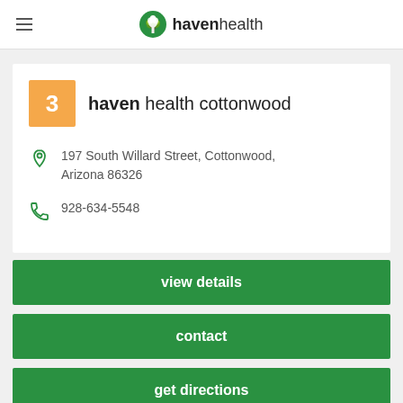haven health
3 haven health cottonwood
197 South Willard Street, Cottonwood, Arizona 86326
928-634-5548
view details
contact
get directions